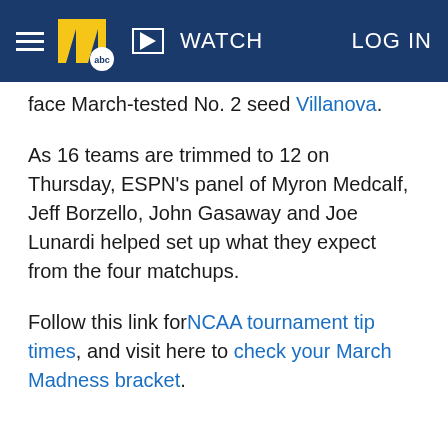WATCH | LOG IN
face March-tested No. 2 seed Villanova.
As 16 teams are trimmed to 12 on Thursday, ESPN's panel of Myron Medcalf, Jeff Borzello, John Gasaway and Joe Lunardi helped set up what they expect from the four matchups.
Follow this link for NCAA tournament tip times, and visit here to check your March Madness bracket.